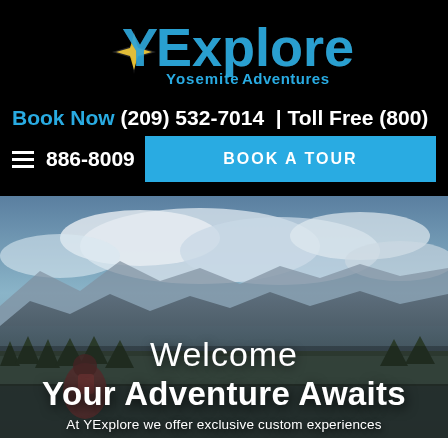[Figure (logo): YExplore Yosemite Adventures logo — stylized blue and gray text with a compass star graphic, on black background]
Book Now (209) 532-7014  | Toll Free (800)
886-8009
BOOK A TOUR
[Figure (photo): Mountain landscape photo from a high vantage point showing Yosemite peaks, forests, and dramatic cloudy sky. A hiker with a backpack is visible in the foreground lower left.]
Welcome
Your Adventure Awaits
At YExplore we offer exclusive custom experiences